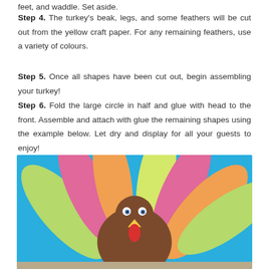feet, and waddle. Set aside.
Step 4. The turkey's beak, legs, and some feathers will be cut out from the yellow craft paper. For any remaining feathers, use a variety of colours.
Step 5. Once all shapes have been cut out, begin assembling your turkey!
Step 6. Fold the large circle in half and glue with head to the front. Assemble and attach with glue the remaining shapes using the example below. Let dry and display for all your guests to enjoy!
[Figure (photo): A paper craft turkey assembled from cut-out coloured construction paper shapes against a blue background. The turkey body is brown, with colourful feathers in green, pink, orange, and yellow fanning out behind. The turkey has googly eyes, a yellow beak, and a red wattle. The legs/feet are visible at the bottom.]